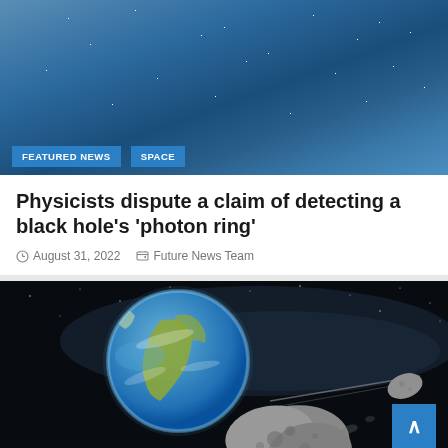[Figure (photo): Blue starry space background used as hero banner image for the article]
FEATURED NEWS   SPACE
Physicists dispute a claim of detecting a black hole's 'photon ring'
August 31, 2022   Future News Team
[Figure (photo): Space illustration showing Earth from orbit with asteroids or rocky bodies in the foreground against a dark space background, with a blue scroll-to-top button in the lower right corner]